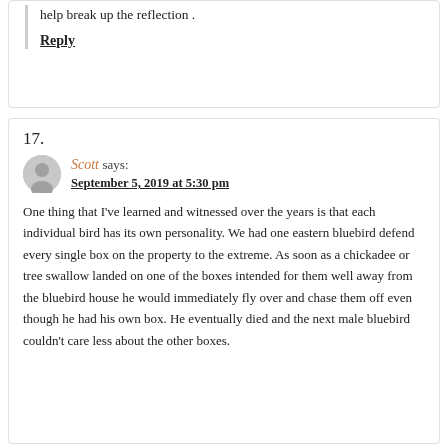help break up the reflection .
Reply
17.
Scott says:
September 5, 2019 at 5:30 pm
One thing that I've learned and witnessed over the years is that each individual bird has its own personality. We had one eastern bluebird defend every single box on the property to the extreme. As soon as a chickadee or tree swallow landed on one of the boxes intended for them well away from the bluebird house he would immediately fly over and chase them off even though he had his own box. He eventually died and the next male bluebird couldn't care less about the other boxes.